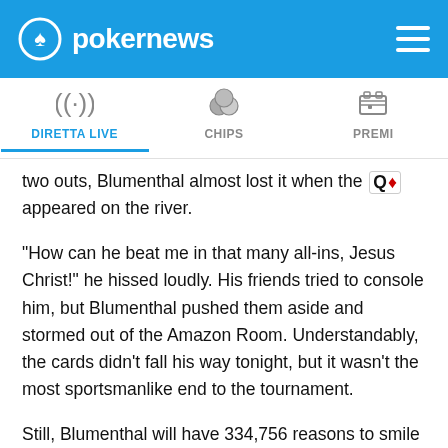pokernews — DIRETTA LIVE | CHIPS | PREMI
two outs, Blumenthal almost lost it when the Q♦ appeared on the river.
"How can he beat me in that many all-ins, Jesus Christ!" he hissed loudly. His friends tried to console him, but Blumenthal pushed them aside and stormed out of the Amazon Room. Understandably, the cards didn't fall his way tonight, but it wasn't the most sportsmanlike end to the tournament.
Still, Blumenthal will have 334,756 reasons to smile once the dust settles. And now - it's time to wrap this one up.
Congratulations to Geffrey Kline, your newest WSOP champion of 2011!